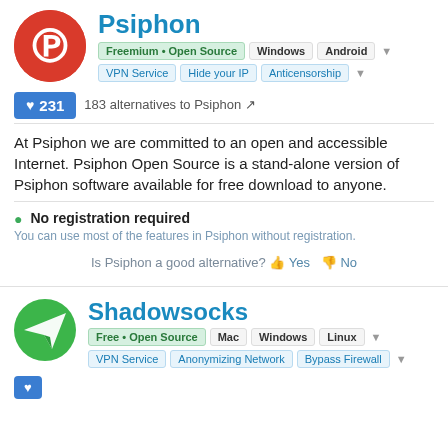Psiphon
Freemium • Open Source  Windows  Android
VPN Service  Hide your IP  Anticensorship
♥ 231
183 alternatives to Psiphon
At Psiphon we are committed to an open and accessible Internet. Psiphon Open Source is a stand-alone version of Psiphon software available for free download to anyone.
No registration required
You can use most of the features in Psiphon without registration.
Is Psiphon a good alternative? 👍 Yes 👎 No
Shadowsocks
Free • Open Source  Mac  Windows  Linux
VPN Service  Anonymizing Network  Bypass Firewall